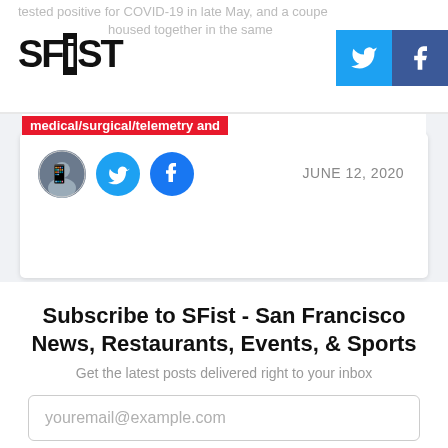SFiST
tested positive for COVID-19 in late May, and a coupe
housed together in the same
medical/surgical/telemetry and
[Figure (illustration): Author avatar circle photo, Twitter icon circle, Facebook icon circle]
JUNE 12, 2020
Subscribe to SFist - San Francisco News, Restaurants, Events, & Sports
Get the latest posts delivered right to your inbox
youremail@example.com
Subscribe